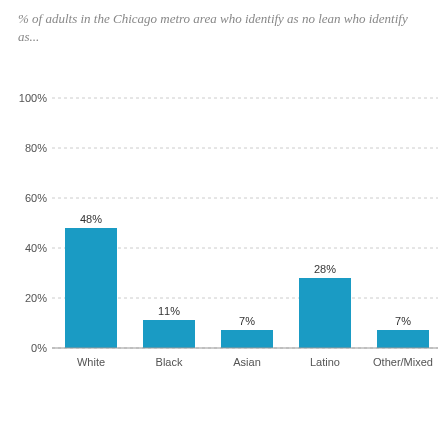% of adults in the Chicago metro area who identify as no lean who identify as...
[Figure (bar-chart): ]